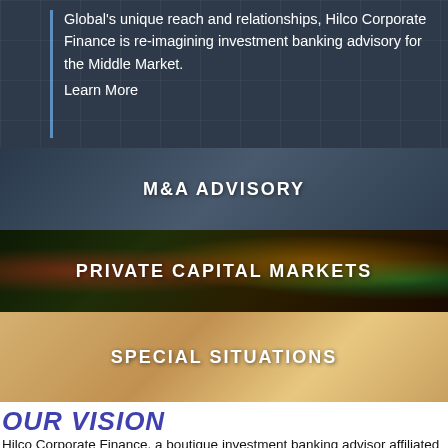Global's unique reach and relationships, Hilco Corporate Finance is re-imagining investment banking advisory for the Middle Market. Learn More
[Figure (photo): Dark blue banner with grid lines background showing M&A Advisory section label]
[Figure (photo): Dark background with colorful stock ticker numbers showing Private Capital Markets section label]
[Figure (photo): Warm beige/gold background showing a hand with pen, Special Situations section label]
OUR VISION
Hilco Corporate Finance, a boutique investment banking advisor affiliated with Hilco Global, provides unmatched creativity and relentless support to our clients. Our seasoned